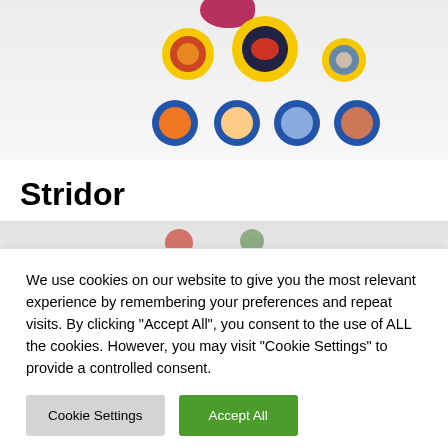[Figure (photo): Photograph of yellow and blue circular tokens/game pieces with character artwork printed on them, arranged on a white background. A pink/magenta blob shape is visible at the top. Three larger yellow tokens in the top row and four smaller blue tokens in the bottom row.]
Stridor
[Figure (photo): Partially visible photograph below the title, showing a light gray/white background with hints of colorful objects at the bottom.]
We use cookies on our website to give you the most relevant experience by remembering your preferences and repeat visits. By clicking "Accept All", you consent to the use of ALL the cookies. However, you may visit "Cookie Settings" to provide a controlled consent.
Cookie Settings
Accept All